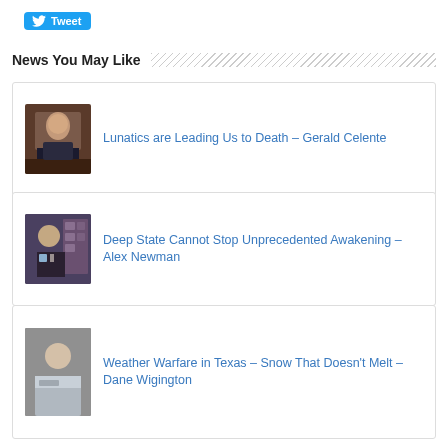[Figure (logo): Twitter Tweet button with blue background and white bird icon]
News You May Like
[Figure (photo): Thumbnail of Gerald Celente]
Lunatics are Leading Us to Death – Gerald Celente
[Figure (photo): Thumbnail of Alex Newman]
Deep State Cannot Stop Unprecedented Awakening – Alex Newman
[Figure (photo): Thumbnail of Dane Wigington]
Weather Warfare in Texas – Snow That Doesn't Melt – Dane Wigington